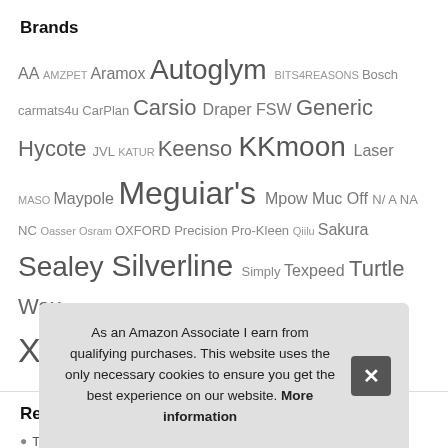Brands
AA AMZPET Aramox Autoglym BITS4REASONS Bosch carmats4u CarPlan Carsio Draper FSW Generic Hycote JVL KATUR Keenso KKmoon Laser MASO Maypole Meguiar's Mpow Muc Off N/A NA NC Oasser Osram OXFORD Precision Pro-Kleen Qiilu Sakura Sealey Silverline Simply Texpeed Turtle Wax UGREEN UKB4C Unknown Vipa Car Parts Wheels N Bits Xtremeauto YOSH
Rec
T
T
As an Amazon Associate I earn from qualifying purchases. This website uses the only necessary cookies to ensure you get the best experience on our website. More information